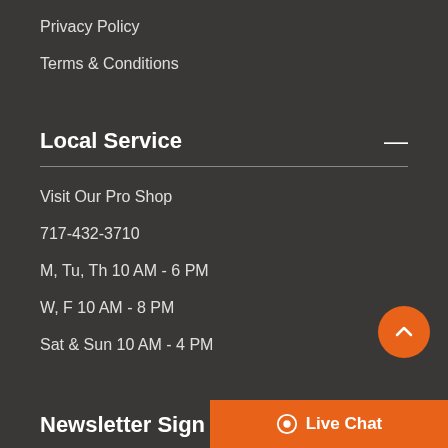Privacy Policy
Terms & Conditions
Local Service
Visit Our Pro Shop
717-432-3710
M, Tu, Th 10 AM - 6 PM
W, F 10 AM - 8 PM
Sat & Sun 10 AM - 4 PM
Newsletter Sign Up
Live Chat